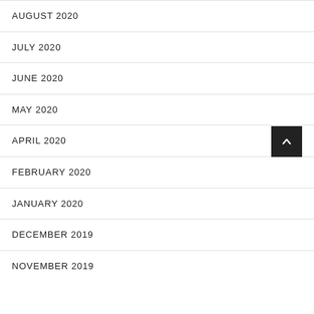AUGUST 2020
JULY 2020
JUNE 2020
MAY 2020
APRIL 2020
FEBRUARY 2020
JANUARY 2020
DECEMBER 2019
NOVEMBER 2019